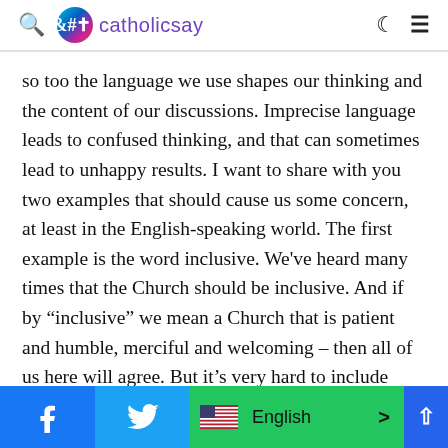catholicsay
so too the language we use shapes our thinking and the content of our discussions. Imprecise language leads to confused thinking, and that can sometimes lead to unhappy results. I want to share with you two examples that should cause us some concern, at least in the English-speaking world. The first example is the word inclusive. We've heard many times that the Church should be inclusive. And if by “inclusive” we mean a Church that is patient and humble, merciful and welcoming – then all of us here will agree. But it’s very hard to include those who do not wish to be included, or
English